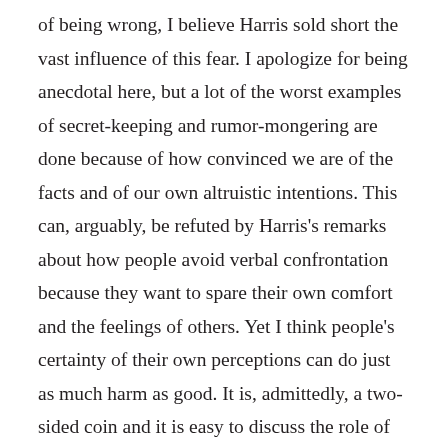of being wrong, I believe Harris sold short the vast influence of this fear. I apologize for being anecdotal here, but a lot of the worst examples of secret-keeping and rumor-mongering are done because of how convinced we are of the facts and of our own altruistic intentions. This can, arguably, be refuted by Harris's remarks about how people avoid verbal confrontation because they want to spare their own comfort and the feelings of others. Yet I think people's certainty of their own perceptions can do just as much harm as good. It is, admittedly, a two-sided coin and it is easy to discuss the role of good intentions in passive dishonesty while overlooking the role of good intentions in active dishonesty.